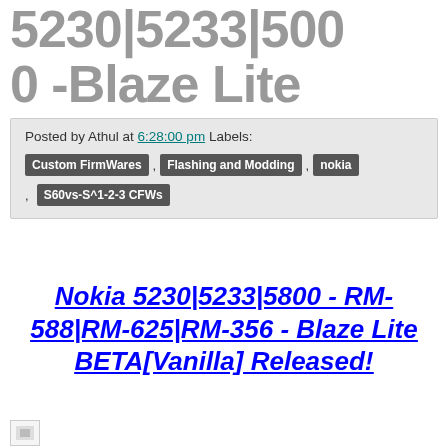5230|5233|500 -Blaze Lite
Posted by Athul at 6:28:00 pm Labels:
Custom FirmWares , Flashing and Modding , nokia , S60vs-S^1-2-3 CFWs
Nokia 5230|5233|5800 - RM-588|RM-625|RM-356 - Blaze Lite BETA[Vanilla] Released!
[Figure (photo): Broken image placeholder]